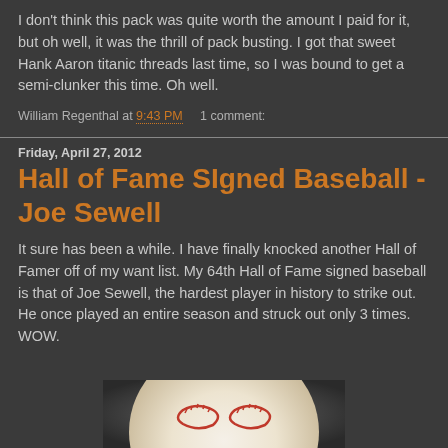I don't think this pack was quite worth the amount I paid for it, but oh well, it was the thrill of pack busting.  I got that sweet Hank Aaron titanic threads last time, so I was bound to get a semi-clunker this time.  Oh well.
William Regenthal at 9:43 PM    1 comment:
Friday, April 27, 2012
Hall of Fame SIgned Baseball - Joe Sewell
It sure has been a while.  I have finally knocked another Hall of Famer off of my want list.  My 64th Hall of Fame signed baseball is that of Joe Sewell, the hardest player in history to strike out.  He once played an entire season and struck out only 3 times.  WOW.
[Figure (photo): Photograph of a signed baseball, showing white ball with red stitching/seams, photographed close up against a blurred gray background.]